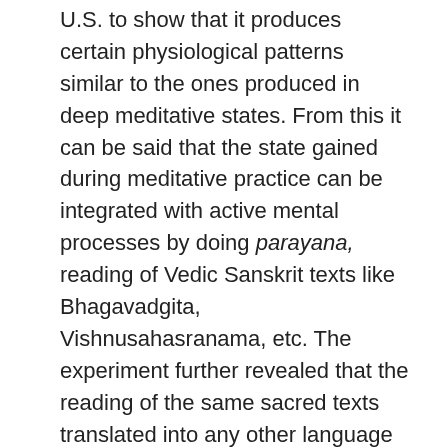U.S. to show that it produces certain physiological patterns similar to the ones produced in deep meditative states. From this it can be said that the state gained during meditative practice can be integrated with active mental processes by doing parayana, reading of Vedic Sanskrit texts like Bhagavadgita, Vishnusahasranama, etc. The experiment further revealed that the reading of the same sacred texts translated into any other language did not produce a similar effect.
8. It is obvious from the above that the sacred